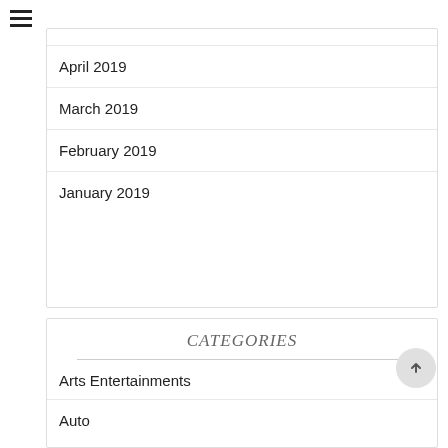April 2019
March 2019
February 2019
January 2019
CATEGORIES
Arts Entertainments
Auto